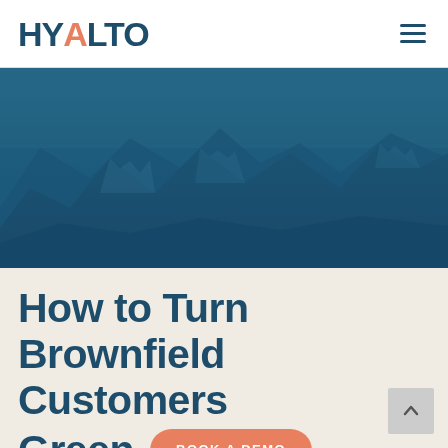HYALTO — navigation bar with logo and hamburger menu
[Figure (photo): Mountain range landscape with dark teal/blue color overlay, showing snow-capped rocky peaks against a blue-toned sky]
How to Turn Brownfield Customers Green
BOOK A DEMO